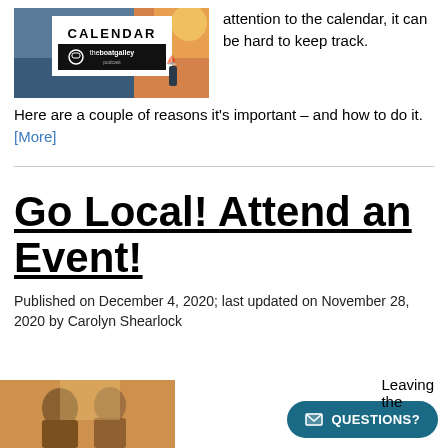[Figure (photo): Calendar banner image for The Boat Galley podcast with text 'CALENDAR' and 'theboatgalley podcast' logo with headphones icon, overlaid on ocean/sunset photo]
attention to the calendar, it can be hard to keep track. Here are a couple of reasons it's important – and how to do it. [More]
Go Local! Attend an Event!
Published on December 4, 2020; last updated on November 28, 2020 by Carolyn Shearlock
[Figure (photo): Partial photo at bottom of page showing people at an event]